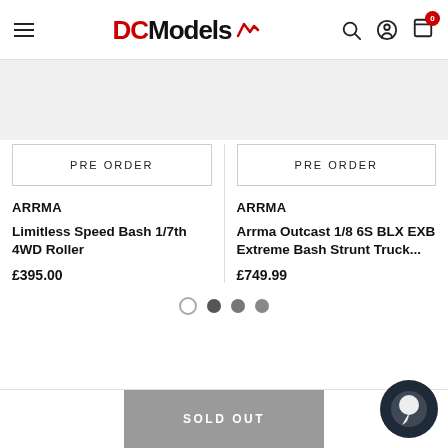DC Models
[Figure (screenshot): Gray banner/hero area placeholder]
PRE ORDER
PRE ORDER
ARRMA
Limitless Speed Bash 1/7th 4WD Roller
£395.00
ARRMA
Arrma Outcast 1/8 6S BLX EXB Extreme Bash Strunt Truck...
£749.99
SOLD OUT